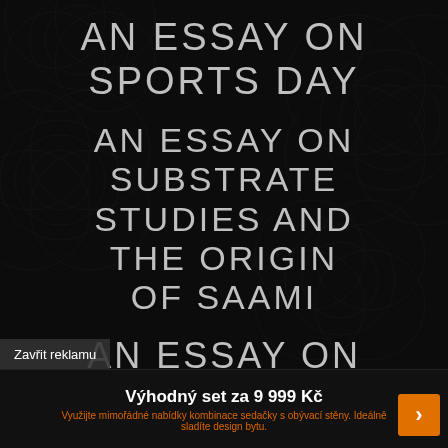[Figure (illustration): Dark background with subtle decorative rose/circular pattern overlay, very dark gray/black tones]
AN ESSAY ON SPORTS DAY
AN ESSAY ON SUBSTRATE STUDIES AND THE ORIGIN OF SAAMI
AN ESSAY ON TEACHERS ARE BETTER THAN
Zavřit reklamu
Výhodný set za 9 999 Kč
Využijte mimořádné nabídky kombinace sedačky s obývací stěny. Ideálně sladíte design bytu.